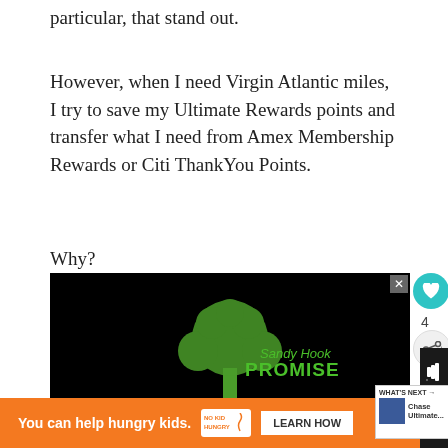particular, that stand out.
However, when I need Virgin Atlantic miles, I try to save my Ultimate Rewards points and transfer what I need from Amex Membership Rewards or Citi ThankYou Points.
Why?
[Figure (photo): Sandy Hook Promise advertisement on dark/black background showing a green tree made of handprints with the text 'Sandy Hook PROMISE' and caption 'Learn the signs at SandyHookPromise.org']
[Figure (infographic): Bottom orange banner advertisement: 'You can help hungry kids.' with No Kid Hungry logo and 'LEARN HOW' button. Close X button visible.]